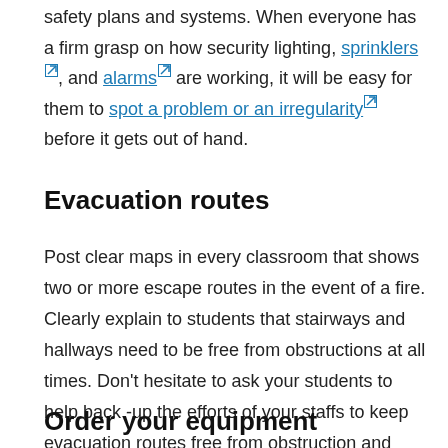safety plans and systems. When everyone has a firm grasp on how security lighting, sprinklers, and alarms are working, it will be easy for them to spot a problem or an irregularity before it gets out of hand.
Evacuation routes
Post clear maps in every classroom that shows two or more escape routes in the event of a fire. Clearly explain to students that stairways and hallways need to be free from obstructions at all times. Don't hesitate to ask your students to help back -up the efforts of your staffs to keep evacuation routes free from obstruction and safe.
Order your equipment